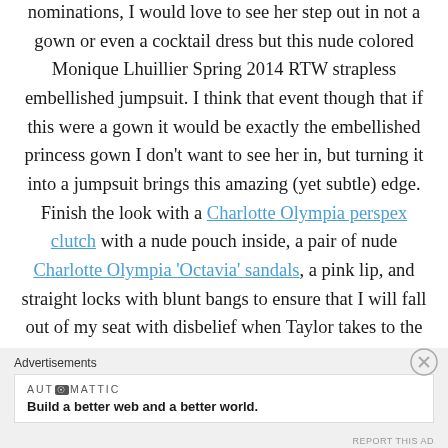nominations, I would love to see her step out in not a gown or even a cocktail dress but this nude colored Monique Lhuillier Spring 2014 RTW strapless embellished jumpsuit. I think that event though that if this were a gown it would be exactly the embellished princess gown I don't want to see her in, but turning it into a jumpsuit brings this amazing (yet subtle) edge. Finish the look with a Charlotte Olympia perspex clutch with a nude pouch inside, a pair of nude Charlotte Olympia 'Octavia' sandals, a pink lip, and straight locks with blunt bangs to ensure that I will fall out of my seat with disbelief when Taylor takes to the red carpet at the 2013 American Music Awards.
Advertisements
AUTOMATTIC — Build a better web and a better world.